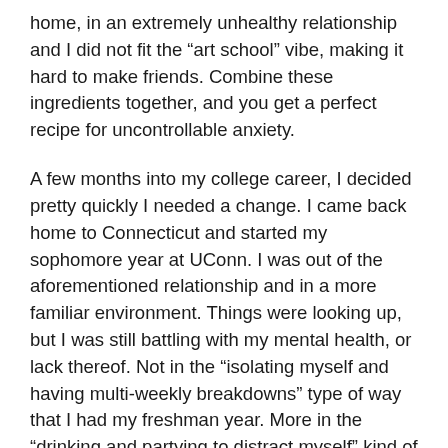home, in an extremely unhealthy relationship and I did not fit the “art school” vibe, making it hard to make friends. Combine these ingredients together, and you get a perfect recipe for uncontrollable anxiety.
A few months into my college career, I decided pretty quickly I needed a change. I came back home to Connecticut and started my sophomore year at UConn. I was out of the aforementioned relationship and in a more familiar environment. Things were looking up, but I was still battling with my mental health, or lack thereof. Not in the “isolating myself and having multi-weekly breakdowns” type of way that I had my freshman year. More in the “drinking and partying to distract myself” kind of way. It’s true you can’t run from your problems. I might have been the hare, but my problems were certainly the tortoise and they caught up with me.
I’ve dealt with anxiety for my entire college career. It’s made